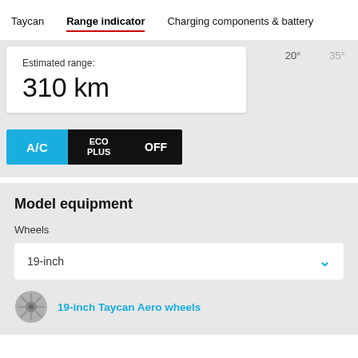Taycan   Range indicator   Charging components & battery
[Figure (screenshot): Range indicator UI showing estimated range of 310 km, with temperature markers 20° and 35°, and climate control buttons A/C, ECO PLUS, OFF]
Model equipment
Wheels
19-inch
19-inch Taycan Aero wheels